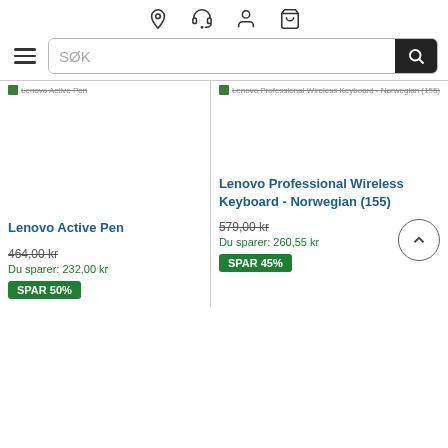Icons: location, headset, user, cart
[Figure (screenshot): E-commerce product listing page showing two Lenovo products side by side with search bar and navigation icons at top]
Lenovo Active Pen (breadcrumb)
Lenovo Professional Wireless Keyboard - Norwegian (155) (breadcrumb)
Lenovo Active Pen
Lenovo Professional Wireless Keyboard - Norwegian (155)
464,00 kr
Du sparer: 232,00 kr
SPAR 50%
579,00 kr
Du sparer: 260,55 kr
SPAR 45%